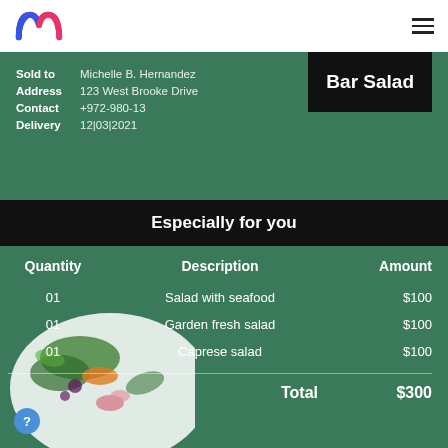maddox logo and navigation
Sold to: Michelle B. Hernandez
Address: 123 West Brooke Drive
Contact: +972-980-13
Delivery: 12|03|2021
Bar Salad
Especially for you
| Quantity | Description | Amount |
| --- | --- | --- |
| 01 | Salad with seafood | $100 |
| 01 | Garden fresh salad | $100 |
| 01 | Caprese salad | $100 |
Total $300